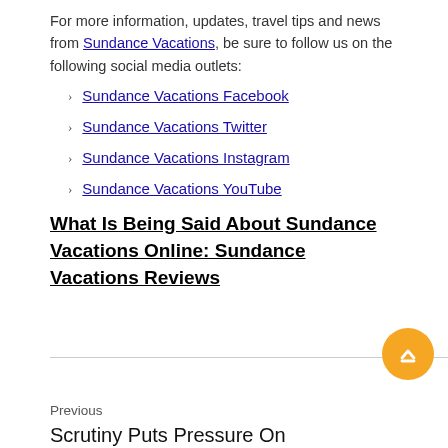For more information, updates, travel tips and news from Sundance Vacations, be sure to follow us on the following social media outlets:
Sundance Vacations Facebook
Sundance Vacations Twitter
Sundance Vacations Instagram
Sundance Vacations YouTube
What Is Being Said About Sundance Vacations Online: Sundance Vacations Reviews
Previous
Scrutiny Puts Pressure On